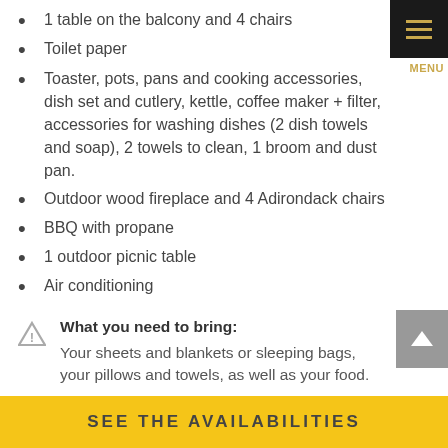1 table on the balcony and 4 chairs
Toilet paper
Toaster, pots, pans and cooking accessories, dish set and cutlery, kettle, coffee maker + filter, accessories for washing dishes (2 dish towels and soap), 2 towels to clean, 1 broom and dust pan.
Outdoor wood fireplace and 4 Adirondack chairs
BBQ with propane
1 outdoor picnic table
Air conditioning
What you need to bring: Your sheets and blankets or sleeping bags, your pillows and towels, as well as your food.
SEE THE AVAILABILITIES